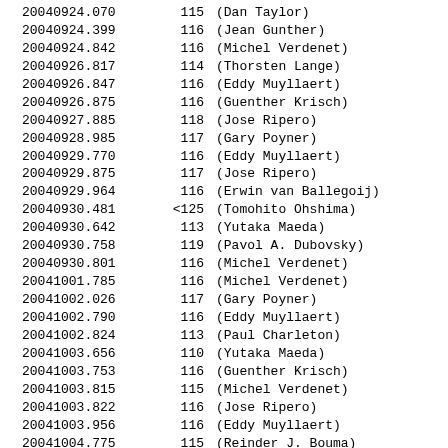| 20040924.070 | 115 | (Dan Taylor) |
| 20040924.399 | 116 | (Jean Gunther) |
| 20040924.842 | 116 | (Michel Verdenet) |
| 20040926.817 | 114 | (Thorsten Lange) |
| 20040926.847 | 116 | (Eddy Muyllaert) |
| 20040926.875 | 116 | (Guenther Krisch) |
| 20040927.885 | 118 | (Jose Ripero) |
| 20040928.985 | 117 | (Gary Poyner) |
| 20040929.770 | 116 | (Eddy Muyllaert) |
| 20040929.875 | 117 | (Jose Ripero) |
| 20040929.964 | 116 | (Erwin van Ballegoij) |
| 20040930.481 | <125 | (Tomohito Ohshima) |
| 20040930.642 | 113 | (Yutaka Maeda) |
| 20040930.758 | 119 | (Pavol A. Dubovsky) |
| 20040930.801 | 116 | (Michel Verdenet) |
| 20041001.785 | 116 | (Michel Verdenet) |
| 20041002.026 | 117 | (Gary Poyner) |
| 20041002.790 | 116 | (Eddy Muyllaert) |
| 20041002.824 | 113 | (Paul Charleton) |
| 20041003.656 | 110 | (Yutaka Maeda) |
| 20041003.753 | 116 | (Guenther Krisch) |
| 20041003.815 | 115 | (Michel Verdenet) |
| 20041003.822 | 116 | (Jose Ripero) |
| 20041003.956 | 116 | (Eddy Muyllaert) |
| 20041004.775 | 115 | (Reinder J. Bouma) |
| 20041004.814 | 115 | (Michel Verdenet) |
| 20041004.849 | 112 | (Paul Charleton) |
| 20041004.950 | 118 | (Gary Poyner) |
| 20041005.092 | 114 | (Dan Taylor) |
| 20041005.753 | 119 | (Pavol A. Dubovsky) |